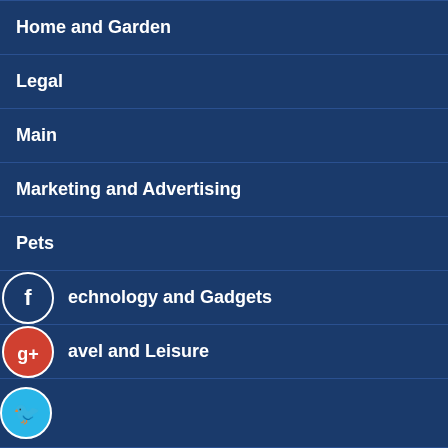Home and Garden
Legal
Main
Marketing and Advertising
Pets
Technology and Gadgets
Travel and Leisure
RECENT POSTS
How To Choose The Best SEO Company